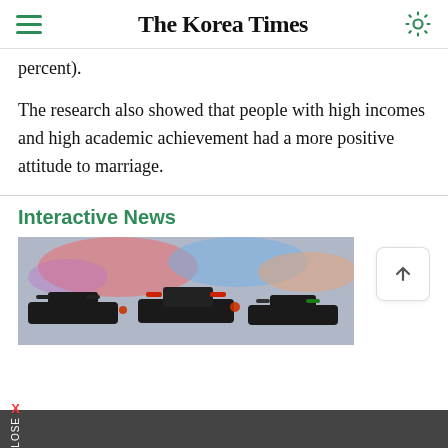The Korea Times
percent).
The research also showed that people with high incomes and high academic achievement had a more positive attitude to marriage.
Interactive News
[Figure (photo): Photo of Formula 1 or racing cars on a track, viewed from behind showing multiple cars with colorful rear wings]
X CLOSE